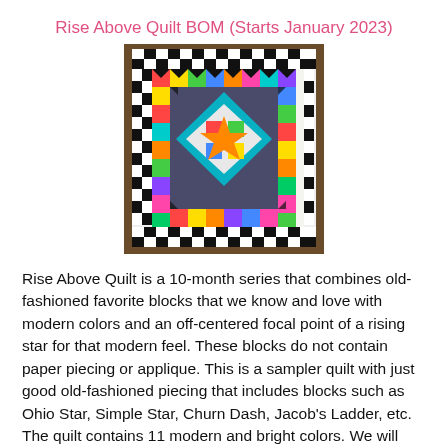Rise Above Quilt BOM (Starts January 2023)
[Figure (photo): A colorful patchwork quilt featuring an off-centered focal point with a rising star design, surrounded by various traditional quilt blocks in bright modern colors with a black and white border.]
Rise Above Quilt is a 10-month series that combines old-fashioned favorite blocks that we know and love with modern colors and an off-centered focal point of a rising star for that modern feel. These blocks do not contain paper piecing or applique. This is a sampler quilt with just good old-fashioned piecing that includes blocks such as Ohio Star, Simple Star, Churn Dash, Jacob's Ladder, etc. The quilt contains 11 modern and bright colors. We will explore, learn tricks of the trade, and perfect our 1/4" seams. Come join us and have fun